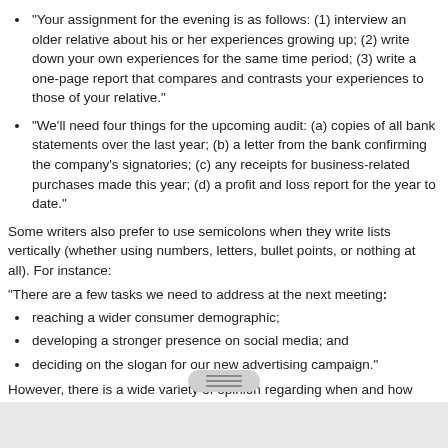“Your assignment for the evening is as follows: (1) interview an older relative about his or her experiences growing up; (2) write down your own experiences for the same time period; (3) write a one-page report that compares and contrasts your experiences to those of your relative.”
“We’ll need four things for the upcoming audit: (a) copies of all bank statements over the last year; (b) a letter from the bank confirming the company’s signatories; (c) any receipts for business-related purchases made this year; (d) a profit and loss report for the year to date.”
Some writers also prefer to use semicolons when they write lists vertically (whether using numbers, letters, bullet points, or nothing at all). For instance:
“There are a few tasks we need to address at the next meeting:
reaching a wider consumer demographic;
developing a stronger presence on social media; and
deciding on the slogan for our new advertising campaign.”
However, there is a wide variety of opinion regarding when and how (and